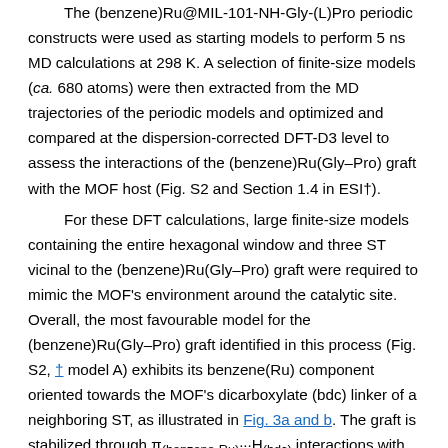The (benzene)Ru@MIL-101-NH-Gly-(L)Pro periodic constructs were used as starting models to perform 5 ns MD calculations at 298 K. A selection of finite-size models (ca. 680 atoms) were then extracted from the MD trajectories of the periodic models and optimized and compared at the dispersion-corrected DFT-D3 level to assess the interactions of the (benzene)Ru(Gly–Pro) graft with the MOF host (Fig. S2 and Section 1.4 in ESI†).
For these DFT calculations, large finite-size models containing the entire hexagonal window and three ST vicinal to the (benzene)Ru(Gly–Pro) graft were required to mimic the MOF's environment around the catalytic site. Overall, the most favourable model for the (benzene)Ru(Gly–Pro) graft identified in this process (Fig. S2, † model A) exhibits its benzene(Ru) component oriented towards the MOF's dicarboxylate (bdc) linker of a neighboring ST, as illustrated in Fig. 3a and b. The graft is stabilized through π(benzene-Ru)···H(bdc) interactions with the hydrogens of the MOF's linker and a